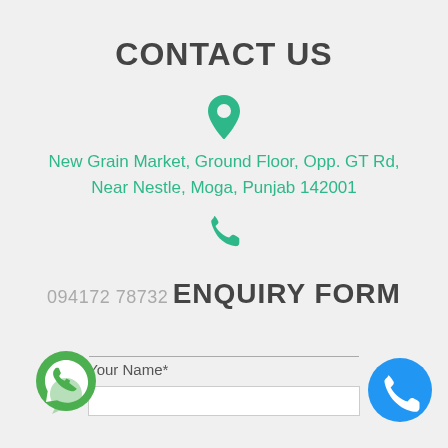CONTACT US
New Grain Market, Ground Floor, Opp. GT Rd, Near Nestle, Moga, Punjab 142001
094172 78732
ENQUIRY FORM
Your Name*